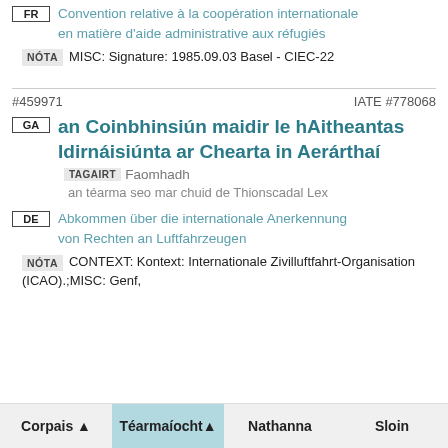FR — Convention relative à la coopération internationale en matière d'aide administrative aux réfugiés
NÓTA  MISC: Signature: 1985.09.03 Basel - CIEC-22
#459971   IATE #778068
GA — an Coinbhinsiún maidir le hAitheantas Idirnáisiúnta ar Chearta in Aerárthaí  TAGAIRT  Faomhadh an téarma seo mar chuid de Thionscadal Lex
DE — Abkommen über die internationale Anerkennung von Rechten an Luftfahrzeugen
NÓTA  CONTEXT: Kontext: Internationale Zivilluftfahrt-Organisation (ICAO).;MISC: Genf,
Corpais ▲   Téarmaíocht ▲   Nathanna   Sloin